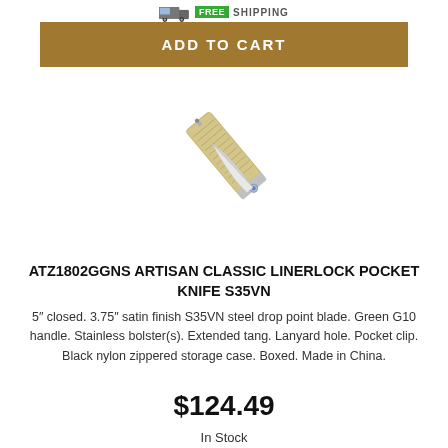[Figure (other): Free shipping badge with truck icon and green FREE label]
ADD TO CART
[Figure (photo): Artisan Classic Linerlock Pocket Knife S35VN with satin blade extended, green G10 handle, and stainless bolsters, shown diagonally.]
ATZ1802GGNS ARTISAN CLASSIC LINERLOCK POCKET KNIFE S35VN
5" closed. 3.75" satin finish S35VN steel drop point blade. Green G10 handle. Stainless bolster(s). Extended tang. Lanyard hole. Pocket clip. Black nylon zippered storage case. Boxed. Made in China.
$124.49
In Stock